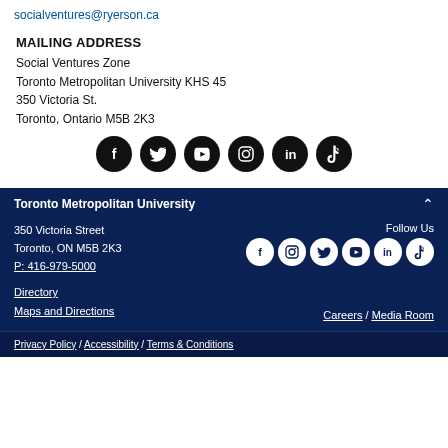socialventures@ryerson.ca
MAILING ADDRESS
Social Ventures Zone
Toronto Metropolitan University KHS 45
350 Victoria St.
Toronto, Ontario M5B 2K3
[Figure (infographic): Row of 6 social media icons (Facebook, Twitter, YouTube, Instagram, LinkedIn, TikTok) as black circles on white background]
Toronto Metropolitan University
350 Victoria Street
Toronto, ON M5B 2K3
P: 416-979-5000
Follow Us
Directory
Maps and Directions
Careers / Media Room
Privacy Policy / Accessibility / Terms & Conditions